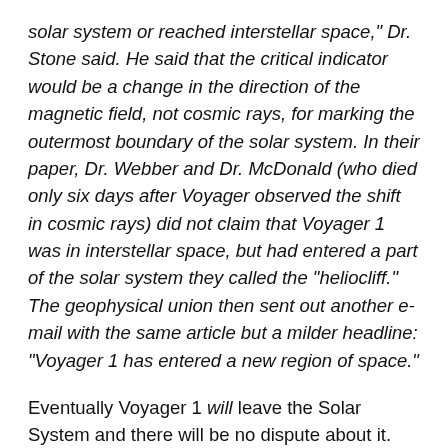solar system or reached interstellar space," Dr. Stone said. He said that the critical indicator would be a change in the direction of the magnetic field, not cosmic rays, for marking the outermost boundary of the solar system. In their paper, Dr. Webber and Dr. McDonald (who died only six days after Voyager observed the shift in cosmic rays) did not claim that Voyager 1 was in interstellar space, but had entered a part of the solar system they called the “heliocliff.” The geophysical union then sent out another e-mail with the same article but a milder headline: “Voyager 1 has entered a new region of space.”
Eventually Voyager 1 will leave the Solar System and there will be no dispute about it.
In the meantime, mainstream science will learn and post about the outer edges of the Solar System as Voyager 1